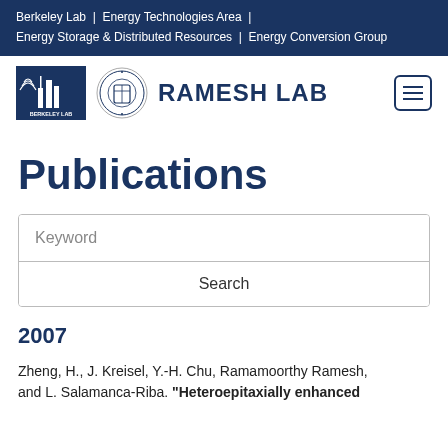Berkeley Lab | Energy Technologies Area | Energy Storage & Distributed Resources | Energy Conversion Group
[Figure (logo): Berkeley Lab logo and UC Berkeley seal with RAMESH LAB text and hamburger menu button]
Publications
Keyword [search input] Search [button]
2007
Zheng, H., J. Kreisel, Y.-H. Chu, Ramamoorthy Ramesh, and L. Salamanca-Riba. "Heteroepitaxially enhanced